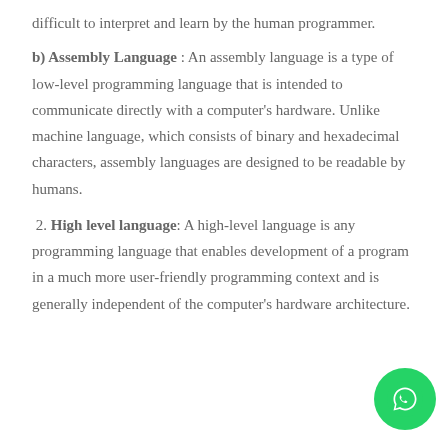difficult to interpret and learn by the human programmer.
b) Assembly Language : An assembly language is a type of low-level programming language that is intended to communicate directly with a computer's hardware. Unlike machine language, which consists of binary and hexadecimal characters, assembly languages are designed to be readable by humans.
2. High level language: A high-level language is any programming language that enables development of a program in a much more user-friendly programming context and is generally independent of the computer's hardware architecture.
[Figure (logo): WhatsApp green circular button icon]